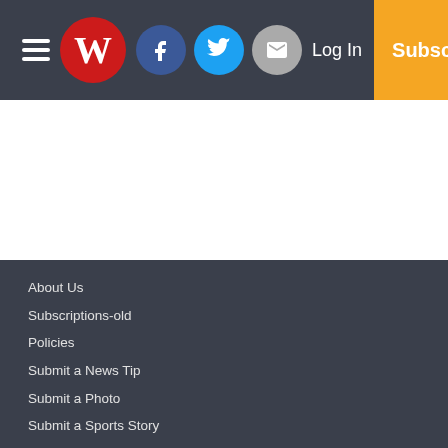Winchester Sun navigation bar with hamburger menu, W logo, Facebook, Twitter, Email icons, Log In, Subscribe
About Us
Subscriptions-old
Policies
Submit a News Tip
Submit a Photo
Submit a Sports Story
Letters to Editor
Copyright
© 2022, Winchester Sun